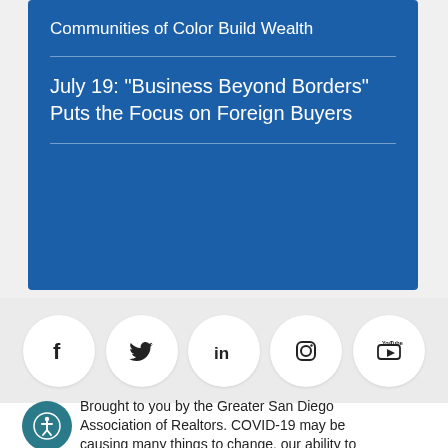Communities of Color Build Wealth
July 19: "Business Beyond Borders" Puts the Focus on Foreign Buyers
[Figure (infographic): Social media icons in white circles on grey background: Facebook, Twitter, LinkedIn, Instagram, YouTube]
Brought to you by the Greater San Diego Association of Realtors. COVID-19 may be causing many things to change, our ability to